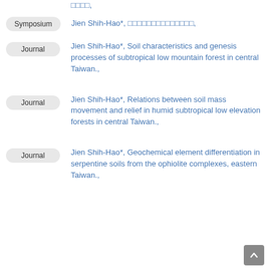Symposium — Jien Shih-Hao*, □□□□□□□□□□□□□□,
Journal — Jien Shih-Hao*, Soil characteristics and genesis processes of subtropical low mountain forest in central Taiwan.,
Journal — Jien Shih-Hao*, Relations between soil mass movement and relief in humid subtropical low elevation forests in central Taiwan.,
Journal — Jien Shih-Hao*, Geochemical element differentiation in serpentine soils from the ophiolite complexes, eastern Taiwan.,